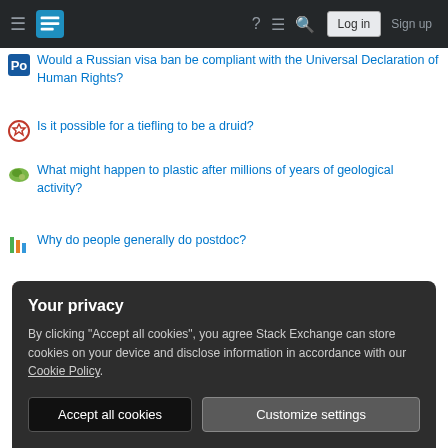Stack Exchange navigation bar with hamburger menu, logo, help, chat, search, Log in, Sign up
Would a Russian visa ban be compliant with the Universal Declaration of Human Rights?
Is it possible for a tiefling to be a druid?
What might happen to plastic after millions of years of geological activity?
Why do people generally do postdoc?
META SUPER USER
Help   Chat   Contact
COMPANY
Your privacy
By clicking "Accept all cookies", you agree Stack Exchange can store cookies on your device and disclose information in accordance with our Cookie Policy.
Accept all cookies   Customize settings